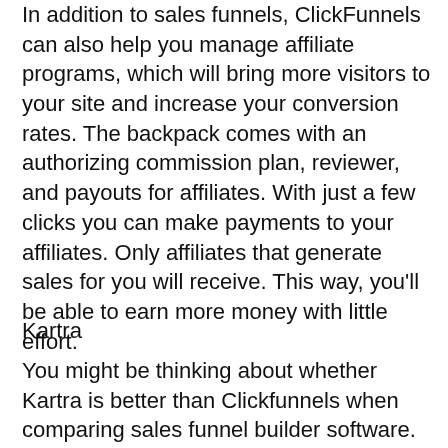In addition to sales funnels, ClickFunnels can also help you manage affiliate programs, which will bring more visitors to your site and increase your conversion rates. The backpack comes with an authorizing commission plan, reviewer, and payouts for affiliates. With just a few clicks you can make payments to your affiliates. Only affiliates that generate sales for you will receive. This way, you'll be able to earn more money with little effort.
Kartra
You might be thinking about whether Kartra is better than Clickfunnels when comparing sales funnel builder software. Both products have their strengths and weaknesses. However when it comes down to the most